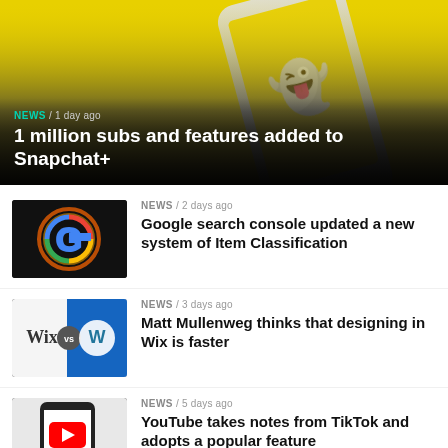[Figure (photo): Snapchat app on a smartphone against a yellow background with Snapchat ghost logo]
NEWS / 1 day ago
1 million subs and features added to Snapchat+
[Figure (photo): Google logo glowing G icon on dark background]
NEWS / 2 days ago
Google search console updated a new system of Item Classification
[Figure (photo): Wix vs WordPress comparison graphic with logos on blue and white background]
NEWS / 3 days ago
Matt Mullenweg thinks that designing in Wix is faster
[Figure (photo): YouTube app on smartphone showing red play button icon]
NEWS / 5 days ago
YouTube takes notes from TikTok and adopts a popular feature